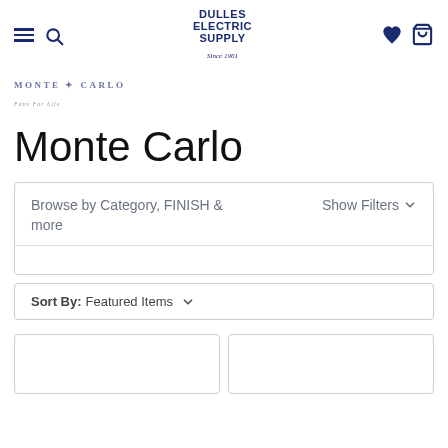Dulles Electric Supply — Since 1961 — navigation header with hamburger menu, search, wishlist, and cart icons
[Figure (logo): Monte Carlo brand logo — decorative text logo with small tagline]
Monte Carlo
Browse by Category, FINISH & more
Show Filters
Sort By: Featured Items
[Figure (screenshot): Two partial product card placeholders at the bottom of the page]